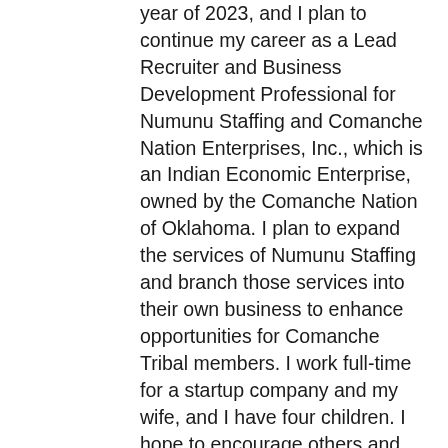year of 2023, and I plan to continue my career as a Lead Recruiter and Business Development Professional for Numunu Staffing and Comanche Nation Enterprises, Inc., which is an Indian Economic Enterprise, owned by the Comanche Nation of Oklahoma. I plan to expand the services of Numunu Staffing and branch those services into their own business to enhance opportunities for Comanche Tribal members. I work full-time for a startup company and my wife, and I have four children. I hope to encourage others and advocate for them to accomplish their goals because they are always within reach.